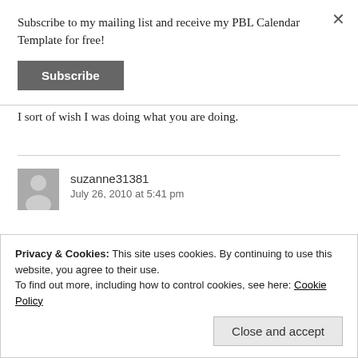Subscribe to my mailing list and receive my PBL Calendar Template for free!
Subscribe
I sort of wish I was doing what you are doing.
suzanne31381
July 26, 2010 at 5:41 pm
Privacy & Cookies: This site uses cookies. By continuing to use this website, you agree to their use.
To find out more, including how to control cookies, see here: Cookie Policy
Close and accept